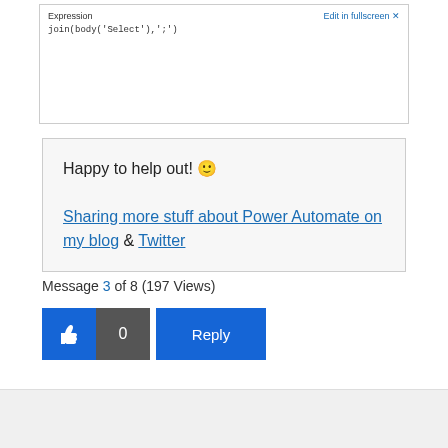[Figure (screenshot): Screenshot showing an expression editor with 'join(body(\'Select\'),\';\')' code and an 'Edit in fullscreen' link]
Happy to help out! 😊
Sharing more stuff about Power Automate on my blog & Twitter
Message 3 of 8 (197 Views)
[Figure (other): Like button (thumbs up icon), count button showing 0, and Reply button]